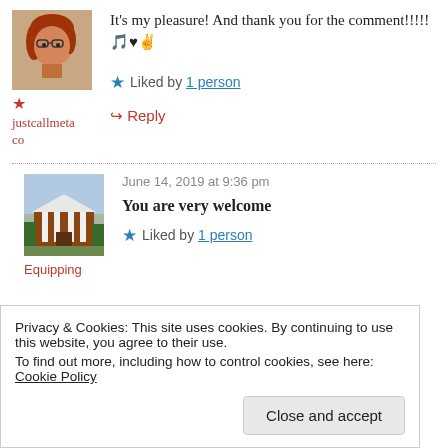[Figure (photo): Avatar photo of a woman with red hair and glasses]
It's my pleasure! And thank you for the comment!!!!! 🎵♥✌
justcallmetaco
★ Liked by 1 person
↪ Reply
[Figure (photo): Photo of a brick church building with white columns]
June 14, 2019 at 9:36 pm
You are very welcome
Equipping
★ Liked by 1 person
Privacy & Cookies: This site uses cookies. By continuing to use this website, you agree to their use. To find out more, including how to control cookies, see here: Cookie Policy
Close and accept